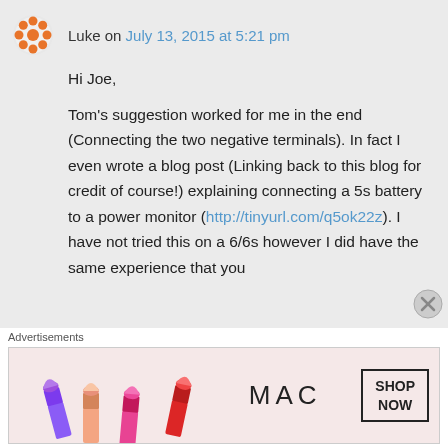Luke on July 13, 2015 at 5:21 pm
Hi Joe,

Tom's suggestion worked for me in the end (Connecting the two negative terminals). In fact I even wrote a blog post (Linking back to this blog for credit of course!) explaining connecting a 5s battery to a power monitor (http://tinyurl.com/q5ok22z). I have not tried this on a 6/6s however I did have the same experience that you
[Figure (other): MAC cosmetics advertisement banner showing lipsticks and SHOP NOW button]
Advertisements